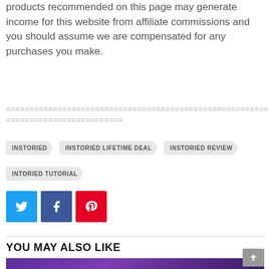products recommended on this page may generate income for this website from affiliate commissions and you should assume we are compensated for any purchases you make.
================================================================
=========================
INSTORIED
INSTORIED LIFETIME DEAL
INSTORIED REVIEW
INTORIED TUTORIAL
[Figure (infographic): Social sharing buttons: Twitter (blue), Facebook (dark blue), Pinterest (red)]
YOU MAY ALSO LIKE
[Figure (photo): Preview image with purple/dark background showing a person]